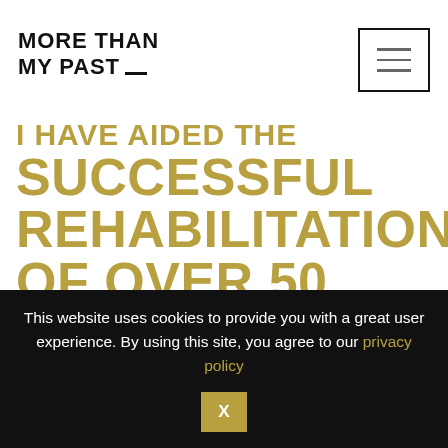MORE THAN MY PAST
I HAVE AIDED THE SUCCESSFUL REHABILITATION OF OVER 50 SERVING OFFENDERS SO THEY CAN
This website uses cookies to provide you with a great user experience. By using this site, you agree to our privacy policy